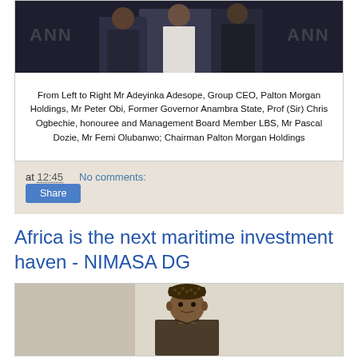[Figure (photo): Group photo of several men standing together at an event with 'ANN' banners in the background]
From Left to Right Mr Adeyinka Adesope, Group CEO, Palton Morgan Holdings, Mr Peter Obi, Former Governor Anambra State, Prof (Sir) Chris Ogbechie, honouree and Management Board Member LBS, Mr Pascal Dozie, Mr Femi Olubanwo; Chairman Palton Morgan Holdings
at 12:45   No comments:
Share
Africa is the next maritime investment haven - NIMASA DG
[Figure (photo): Portrait photo of a man wearing a traditional cap]